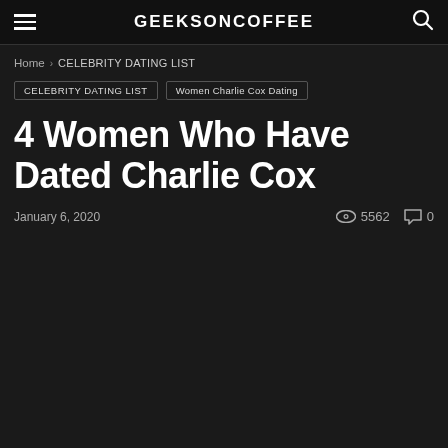GEEKSONCOFFEE
Home › CELEBRITY DATING LIST
CELEBRITY DATING LIST   Women Charlie Cox Dating
4 Women Who Have Dated Charlie Cox
January 6, 2020   5562   0